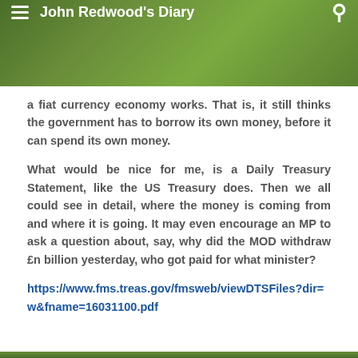John Redwood's Diary
a fiat currency economy works. That is, it still thinks the government has to borrow its own money, before it can spend its own money.
What would be nice for me, is a Daily Treasury Statement, like the US Treasury does. Then we all could see in detail, where the money is coming from and where it is going. It may even encourage an MP to ask a question about, say, why did the MOD withdraw £n billion yesterday, who got paid for what minister?
https://www.fms.treas.gov/fmsweb/viewDTSFiles?dir=w&fname=16031100.pdf